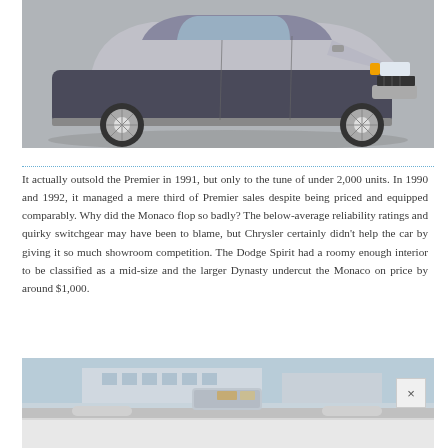[Figure (photo): Photograph of a silver/dark two-tone sedan (Dodge Monaco) viewed from the front-left angle against a grey background]
It actually outsold the Premier in 1991, but only to the tune of under 2,000 units. In 1990 and 1992, it managed a mere third of Premier sales despite being priced and equipped comparably. Why did the Monaco flop so badly? The below-average reliability ratings and quirky switchgear may have been to blame, but Chrysler certainly didn't help the car by giving it so much showroom competition. The Dodge Spirit had a roomy enough interior to be classified as a mid-size and the larger Dynasty undercut the Monaco on price by around $1,000.
[Figure (photo): Interior dashboard/windshield view of a car, partially visible, with a building in the background through the glass]